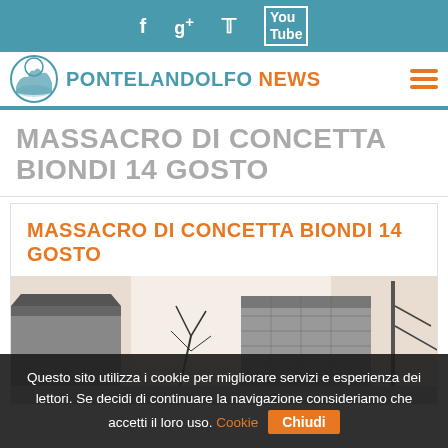f  g+  🐦  yt (social icons bar)
PONTELANDOLFO NEWS
MASSACRO DI CONCETTA BIONDI 14 GOSTO
MASSACRO DI CONCETTA BIONDI 14 GOSTO
[Figure (photo): Black and white photo of old stone buildings in a village, bare trees visible, taken from street level looking up at stone facades.]
Questo sito utilizza i cookie per migliorare servizi e esperienza dei lettori. Se decidi di continuare la navigazione consideriamo che accetti il loro uso. Cookie  Chiudi